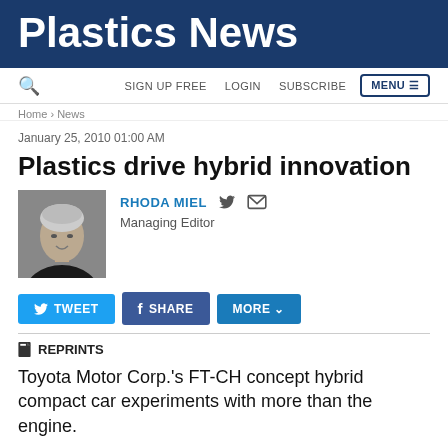Plastics News
SIGN UP FREE   LOGIN   SUBSCRIBE   MENU
Home > News
January 25, 2010 01:00 AM
Plastics drive hybrid innovation
[Figure (photo): Headshot of Rhoda Miel, Managing Editor]
RHODA MIEL  Managing Editor
REPRINTS
Toyota Motor Corp.'s FT-CH concept hybrid compact car experiments with more than the engine.